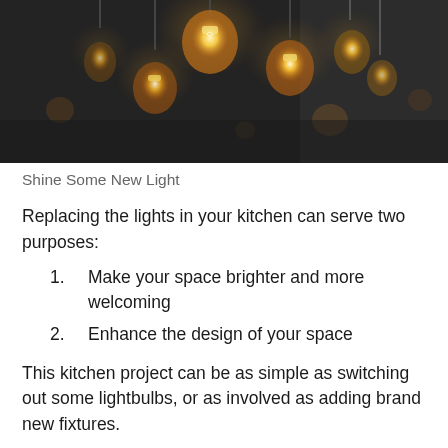[Figure (photo): Photograph of Edison-style hanging pendant light bulbs glowing warm amber/yellow against a dark grey background. Multiple bulbs are suspended at various heights.]
Shine Some New Light
Replacing the lights in your kitchen can serve two purposes:
1. Make your space brighter and more welcoming
2. Enhance the design of your space
This kitchen project can be as simple as switching out some lightbulbs, or as involved as adding brand new fixtures.